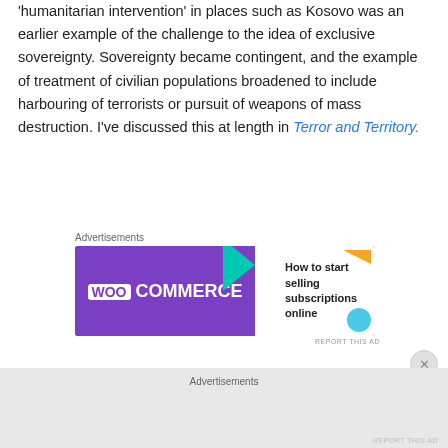'humanitarian intervention' in places such as Kosovo was an earlier example of the challenge to the idea of exclusive sovereignty. Sovereignty became contingent, and the example of treatment of civilian populations broadened to include harbouring of terrorists or pursuit of weapons of mass destruction. I've discussed this at length in Terror and Territory.
[Figure (other): WooCommerce advertisement banner: purple background on left with WooCommerce logo and teal arrow, white background on right with text 'How to start selling subscriptions online']
One of the first instances of this being articulated – rather than just practiced – was in the 1989 invasion of Panama
Advertisements